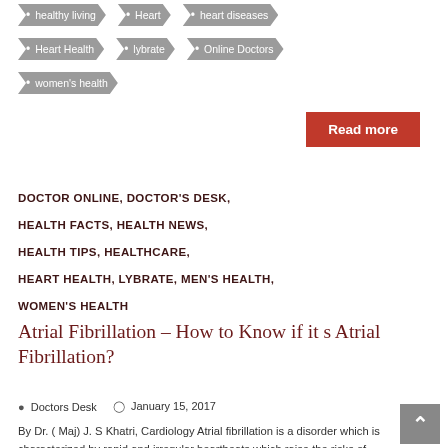• healthy living
• Heart
• heart diseases
• Heart Health
• lybrate
• Online Doctors
• women's health
DOCTOR ONLINE, DOCTOR'S DESK, HEALTH FACTS, HEALTH NEWS, HEALTH TIPS, HEALTHCARE, HEART HEALTH, LYBRATE, MEN'S HEALTH, WOMEN'S HEALTH
Atrial Fibrillation – How to Know if it s Atrial Fibrillation?
Doctors Desk   January 15, 2017
By Dr. ( Maj) J. S Khatri, Cardiology Atrial fibrillation is a disorder which is characterized by rapid and irregular heartbeats which raise the risks of heart failure and stroke. In this disorder,